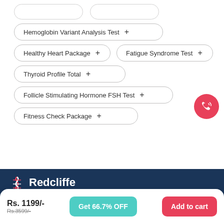Hemoglobin Variant Analysis Test +
Healthy Heart Package +
Fatigue Syndrome Test +
Thyroid Profile Total +
Follicle Stimulating Hormone FSH Test +
Fitness Check Package +
[Figure (logo): Redcliffe Labs logo with DNA helix icon in white/red on dark blue background]
Rs. 1199/-
Rs.3599/-
Get 66.7% OFF
Add to cart